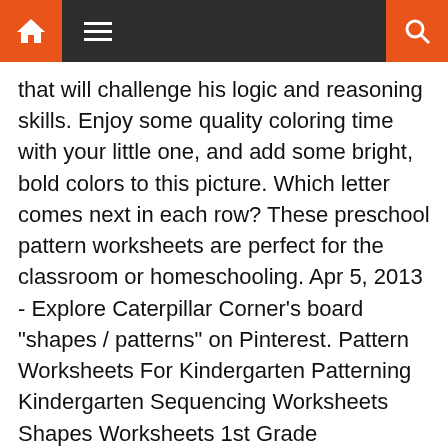Navigation bar with home, menu, and search icons
that will challenge his logic and reasoning skills. Enjoy some quality coloring time with your little one, and add some bright, bold colors to this picture. Which letter comes next in each row? These preschool pattern worksheets are perfect for the classroom or homeschooling. Apr 5, 2013 - Explore Caterpillar Corner's board "shapes / patterns" on Pinterest. Pattern Worksheets For Kindergarten Patterning Kindergarten Sequencing Worksheets Shapes Worksheets 1st Grade Worksheets Free Printable Worksheets Summer Worksheets Letter Worksheets Math Patterns … Race to find the next item in the pattern. This resource includes 4 practice sheets for the skill of Identifying Number Pattern #1. Our patterns worksheets help children in kindergarten develop a higher understanding in forming, explaining and visualizing patterns,